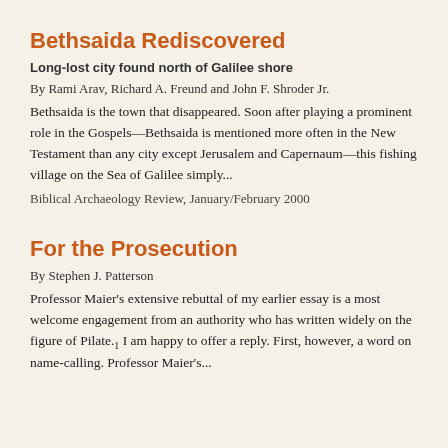Bethsaida Rediscovered
Long-lost city found north of Galilee shore
By Rami Arav, Richard A. Freund and John F. Shroder Jr.
Bethsaida is the town that disappeared. Soon after playing a prominent role in the Gospels—Bethsaida is mentioned more often in the New Testament than any city except Jerusalem and Capernaum—this fishing village on the Sea of Galilee simply...
Biblical Archaeology Review, January/February 2000
For the Prosecution
By Stephen J. Patterson
Professor Maier's extensive rebuttal of my earlier essay is a most welcome engagement from an authority who has written widely on the figure of Pilate.1 I am happy to offer a reply. First, however, a word on name-calling. Professor Maier's...